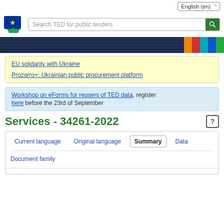English (en)
[Figure (logo): EU TED logo - blue square with EU stars icon and green speech bubble]
Search TED for public tenders
[Figure (infographic): Navigation band: dark navy blue stripe with colored blocks (orange, red, cyan, blue, green)]
EU solidarity with Ukraine
Prozorro+: Ukrainian public procurement platform
Workshop on eForms for reusers of TED data, register here before the 23rd of September
Services - 34261-2022
Current language   Original language   Summary   Data
Document family